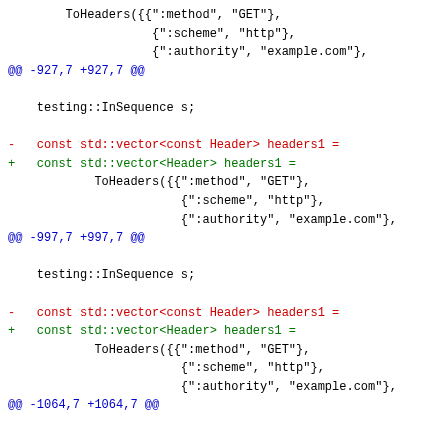Code diff showing changes to ToHeaders calls, hunk markers at -927,7 +927,7, -997,7 +997,7, and -1064,7 +1064,7, with const std::vector<const Header> replaced by const std::vector<Header>
ToHeaders({{":method", "GET"},
                    {":scheme", "http"},
                    {":authority", "example.com"},
@@ -927,7 +927,7 @@

    testing::InSequence s;

-   const std::vector<const Header> headers1 =
+   const std::vector<Header> headers1 =
            ToHeaders({{":method", "GET"},
                        {":scheme", "http"},
                        {":authority", "example.com"},
@@ -997,7 +997,7 @@

    testing::InSequence s;

-   const std::vector<const Header> headers1 =
+   const std::vector<Header> headers1 =
            ToHeaders({{":method", "GET"},
                        {":scheme", "http"},
                        {":authority", "example.com"},
@@ -1064,7 +1064,7 @@